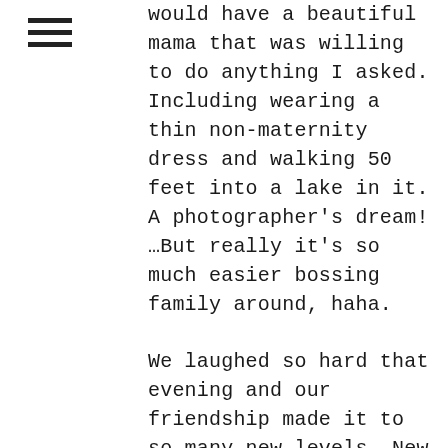would have a beautiful mama that was willing to do anything I asked. Including wearing a thin non-maternity dress and walking 50 feet into a lake in it. A photographer’s dream! …But really it’s so much easier bossing family around, haha.
We laughed so hard that evening and our friendship made it to so many new levels. New levels that yielded drop-dead gorgeous bare belly shots (not seen here) and some equally as awesome ones that almost made us pee our pants laughing (also not seen here). But don’t worry I am sharing some of my favorites with you!